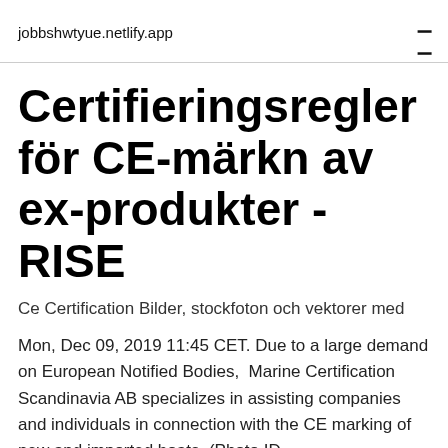jobbshwtyue.netlify.app
Certifieringsregler för CE-märkn av ex-produkter - RISE
Ce Certification Bilder, stockfoton och vektorer med
Mon, Dec 09, 2019 11:45 CET. Due to a large demand on European Notified Bodies,  Marine Certification Scandinavia AB specializes in assisting companies and individuals in connection with the CE marking of new and imported boats. (Photo ID